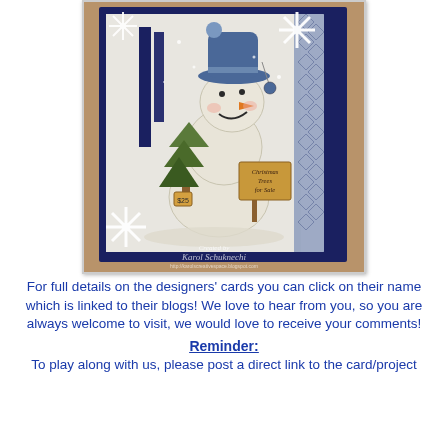[Figure (photo): A handmade Christmas card featuring a cute snowman wearing a blue hat and holding a small Christmas tree with a price tag. The card has a navy blue border with white snowflake die-cuts in the corners, and a blue patterned paper border on the right side. A wooden sign reads 'Christmas Trees for Sale'. The card is signed 'Created by Karol Schuknechi' with a blog URL watermark. The background card shows an embossed snowflake pattern.]
For full details on the designers' cards you can click on their name which is linked to their blogs! We love to hear from you, so you are always welcome to visit, we would love to receive your comments!
Reminder:
To play along with us, please post a direct link to the card/project